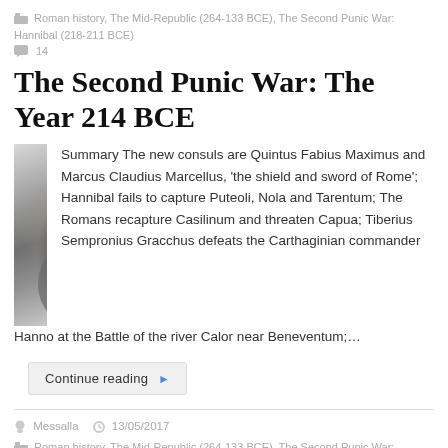Roman history, The Mid-Republic (264-133 BCE), The Second Punic War: Hannibal (218-211 BCE)
14
The Second Punic War: The Year 214 BCE
[Figure (photo): Black and white photograph of a marble bust of a Roman figure, likely Hannibal, showing a bearded man looking upward to the left]
Summary The new consuls are Quintus Fabius Maximus and Marcus Claudius Marcellus, 'the shield and sword of Rome'; Hannibal fails to capture Puteoli, Nola and Tarentum; The Romans recapture Casilinum and threaten Capua; Tiberius Sempronius Gracchus defeats the Carthaginian commander Hanno at the Battle of the river Calor near Beneventum;…
Continue reading ▶
Messalla   13/05/2017
Roman history, The Mid-Republic (264-133 BCE), The Second Punic War: